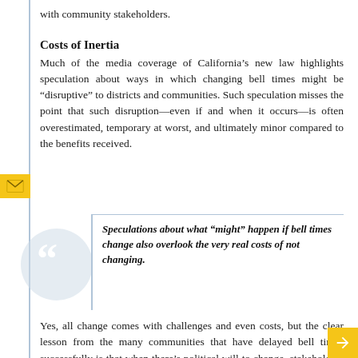with community stakeholders.
Costs of Inertia
Much of the media coverage of California’s new law highlights speculation about ways in which changing bell times might be “disruptive” to districts and communities. Such speculation misses the point that such disruption—even if and when it occurs—is often overestimated, temporary at worst, and ultimately minor compared to the benefits received.
Speculations about what “might” happen if bell times change also overlook the very real costs of not changing.
Yes, all change comes with challenges and even costs, but the clear lesson from the many communities that have delayed bell times successfully is that when there’s political will to change, stakeholders can and do collaborate it…